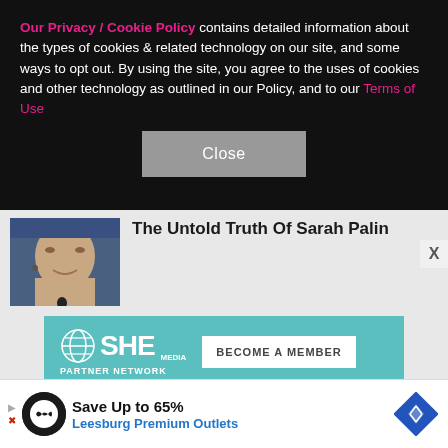Our Privacy / Cookie Policy contains detailed information about the types of cookies & related technology on our site, and some ways to opt out. By using the site, you agree to the uses of cookies and other technology as outlined in our Policy, and to our Terms of Use
[Figure (other): Close button for cookie/privacy overlay]
[Figure (photo): Photo of Sarah Palin speaking at a microphone]
The Untold Truth Of Sarah Palin
[Figure (logo): SHE Media Partner Network advertisement - Become A Member banner with photo of woman with glasses smiling]
[Figure (other): Bottom advertisement: Save Up to 65% Leesburg Premium Outlets]